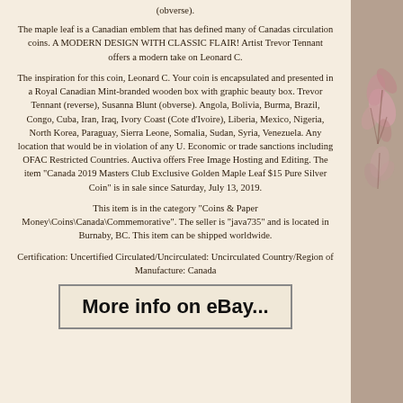(obverse).
The maple leaf is a Canadian emblem that has defined many of Canadas circulation coins. A MODERN DESIGN WITH CLASSIC FLAIR! Artist Trevor Tennant offers a modern take on Leonard C.
The inspiration for this coin, Leonard C. Your coin is encapsulated and presented in a Royal Canadian Mint-branded wooden box with graphic beauty box. Trevor Tennant (reverse), Susanna Blunt (obverse). Angola, Bolivia, Burma, Brazil, Congo, Cuba, Iran, Iraq, Ivory Coast (Cote d'Ivoire), Liberia, Mexico, Nigeria, North Korea, Paraguay, Sierra Leone, Somalia, Sudan, Syria, Venezuela. Any location that would be in violation of any U. Economic or trade sanctions including OFAC Restricted Countries. Auctiva offers Free Image Hosting and Editing. The item "Canada 2019 Masters Club Exclusive Golden Maple Leaf $15 Pure Silver Coin" is in sale since Saturday, July 13, 2019.
This item is in the category "Coins & Paper Money\Coins\Canada\Commemorative". The seller is "java735" and is located in Burnaby, BC. This item can be shipped worldwide.
Certification: Uncertified Circulated/Uncirculated: Uncirculated Country/Region of Manufacture: Canada
[Figure (other): Decorative floral/leaf illustration on right side panel in muted pink/rose tones on brown background]
More info on eBay...